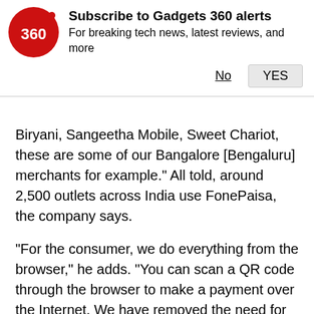[Figure (logo): Gadgets 360 red circle logo with '360' text in white]
Subscribe to Gadgets 360 alerts
For breaking tech news, latest reviews, and more
No  YES
Biryani, Sangeetha Mobile, Sweet Chariot, these are some of our Bangalore [Bengaluru] merchants for example." All told, around 2,500 outlets across India use FonePaisa, the company says.
"For the consumer, we do everything from the browser," he adds. "You can scan a QR code through the browser to make a payment over the Internet. We have removed the need for any consumer-side application. In the future, applications are dead, payments will not be made using any application. Even the shop, since it can be just a QR code, doesn't have to be dependent on any app."